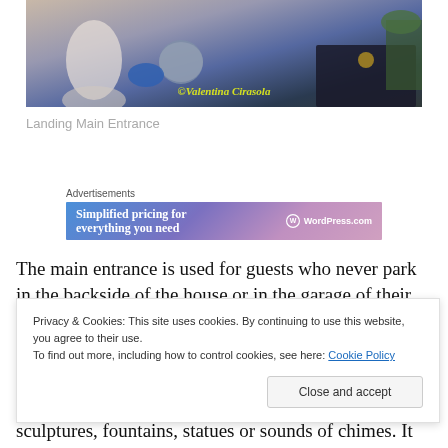[Figure (photo): Photo of a landing/main entrance area with garden decor, sculptures, blue bowls, a silver globe, and plants. Copyright watermark reads '©Valentina Cirasola' in yellow-green italic text.]
Landing Main Entrance
Advertisements
[Figure (screenshot): WordPress.com advertisement banner: 'Simplified pricing for everything you need' with WordPress.com logo on gradient blue-pink background.]
The main entrance is used for guests who never park in the backside of the house or in the garage of their friends,
Privacy & Cookies: This site uses cookies. By continuing to use this website, you agree to their use. To find out more, including how to control cookies, see here: Cookie Policy
sculptures, fountains, statues or sounds of chimes. It